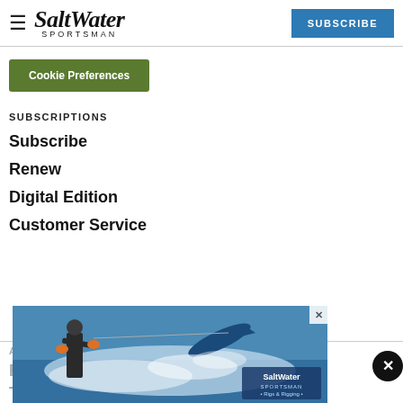Salt Water Sportsman | SUBSCRIBE
Cookie Preferences
SUBSCRIPTIONS
Subscribe
Renew
Digital Edition
Customer Service
ABOUT US
Priva...
Terms of Use
[Figure (photo): Advertisement overlay showing a person fishing with a large fish jumping from the water, with a logo in bottom right corner. Has an X close button.]